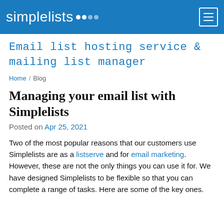simplelists
Email list hosting service & mailing list manager
Home / Blog
Managing your email list with Simplelists
Posted on Apr 25, 2021
Two of the most popular reasons that our customers use Simplelists are as a listserve and for email marketing. However, these are not the only things you can use it for. We have designed Simplelists to be flexible so that you can complete a range of tasks. Here are some of the key ones.